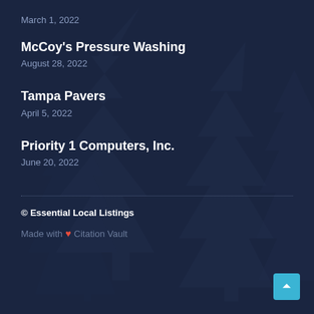March 1, 2022
McCoy's Pressure Washing
August 28, 2022
Tampa Pavers
April 5, 2022
Priority 1 Computers, Inc.
June 20, 2022
© Essential Local Listings
Made with ❤ Citation Vault